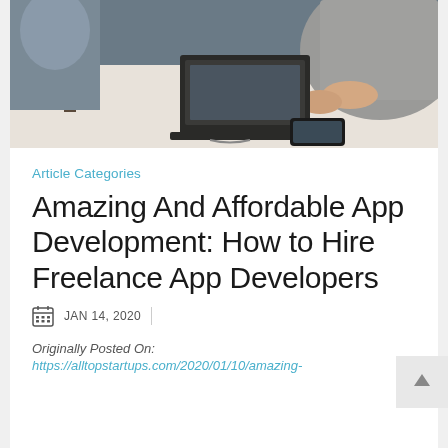[Figure (photo): Office workspace photo showing people working at a desk with laptops and phones, viewed from above/side angle]
Article Categories
Amazing And Affordable App Development: How to Hire Freelance App Developers
JAN 14, 2020
Originally Posted On:
https://alltopstartups.com/2020/01/10/amazing-and-affordable-app-development-how-to-...